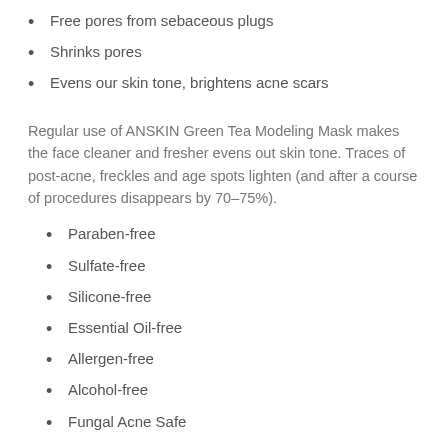Free pores from sebaceous plugs
Shrinks pores
Evens our skin tone, brightens acne scars
Regular use of ANSKIN Green Tea Modeling Mask makes the face cleaner and fresher evens out skin tone. Traces of post-acne, freckles and age spots lighten (and after a course of procedures disappears by 70–75%).
Paraben-free
Sulfate-free
Silicone-free
Essential Oil-free
Allergen-free
Alcohol-free
Fungal Acne Safe
How to Apply: